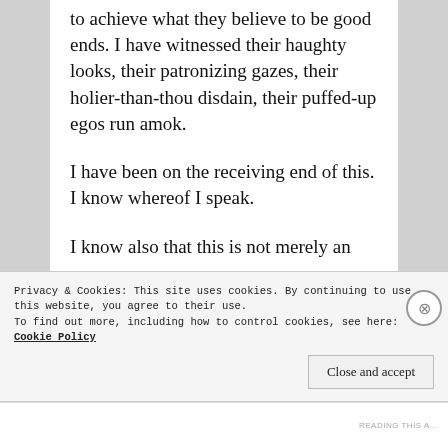to achieve what they believe to be good ends. I have witnessed their haughty looks, their patronizing gazes, their holier-than-thou disdain, their puffed-up egos run amok.
I have been on the receiving end of this. I know whereof I speak.
I know also that this is not merely an
Privacy & Cookies: This site uses cookies. By continuing to use this website, you agree to their use.
To find out more, including how to control cookies, see here: Cookie Policy
Close and accept
READING THIS A...